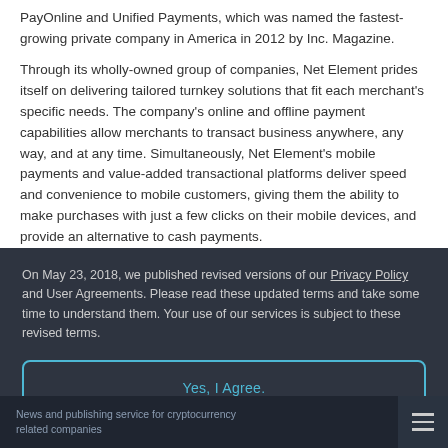PayOnline and Unified Payments, which was named the fastest-growing private company in America in 2012 by Inc. Magazine.
Through its wholly-owned group of companies, Net Element prides itself on delivering tailored turnkey solutions that fit each merchant's specific needs. The company's online and offline payment capabilities allow merchants to transact business anywhere, any way, and at any time. Simultaneously, Net Element's mobile payments and value-added transactional platforms deliver speed and convenience to mobile customers, giving them the ability to make purchases with just a few clicks on their mobile devices, and provide an alternative to cash payments.
On May 23, 2018, we published revised versions of our Privacy Policy and User Agreements. Please read these updated terms and take some time to understand them. Your use of our services is subject to these revised terms.
Yes, I Agree.
News and publishing service for cryptocurrency related companies